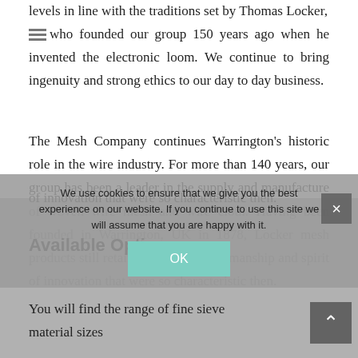levels in line with the traditions set by Thomas Locker, who founded our group 150 years ago when he invented the electronic loom. We continue to bring ingenuity and strong ethics to our day to day business.
The Mesh Company continues Warrington’s historic role in the wire industry. For more than 140 years, our group has been a leader in the supply and manufacture of woven wire mesh and wire cloth. Having been founded in Warrington, UK in 1878, Locker mesh products still retain the quality craftsmanship and spirit of innovation that were so characteristic then.
Available Options
[Figure (screenshot): Cookie consent banner overlay with OK button and close X button, plus scroll-to-top arrow button]
You will find the range of fine sieve material sizes